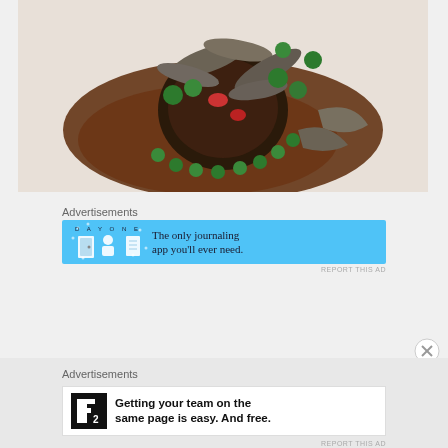[Figure (photo): Overhead close-up photo of a gourmet meat dish on a white plate with mushrooms, broccoli, peas, and red sauce]
Advertisements
[Figure (screenshot): DAY ONE app advertisement banner: The only journaling app you'll ever need.]
REPORT THIS AD
[Figure (other): Close X / dismiss button]
Advertisements
[Figure (screenshot): P2 advertisement: Getting your team on the same page is easy. And free.]
REPORT THIS AD